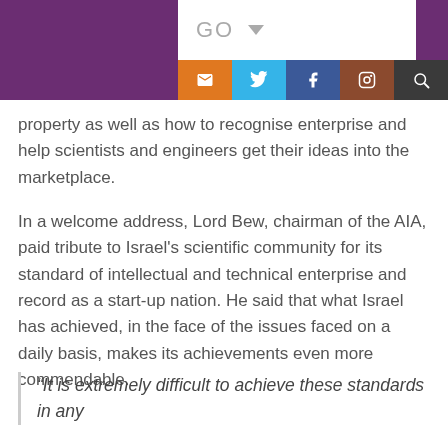[Figure (screenshot): Purple header bar with white GO dropdown box and colored social media icon buttons (email/orange, Twitter/light-blue, Facebook/dark-blue, Instagram/brown, search/dark-grey)]
property as well as how to recognise enterprise and help scientists and engineers get their ideas into the marketplace.
In a welcome address, Lord Bew, chairman of the AIA, paid tribute to Israel's scientific community for its standard of intellectual and technical enterprise and record as a start-up nation. He said that what Israel has achieved, in the face of the issues faced on a daily basis, makes its achievements even more commendable.
“It is extremely difficult to achieve these standards in any